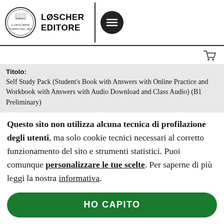[Figure (logo): Loescher Editore logo with circular emblem and hamburger menu button]
[Figure (other): Shopping cart icon in top right]
Titolo: Self Study Pack (Student's Book with Answers with Online Practice and Workbook with Answers with Audio Download and Class Audio) (B1 Preliminary)
Questo sito non utilizza alcuna tecnica di profilazione degli utenti, ma solo cookie tecnici necessari al corretto funzionamento del sito e strumenti statistici. Puoi comunque personalizzare le tue scelte. Per saperne di più leggi la nostra informativa.
HO CAPITO